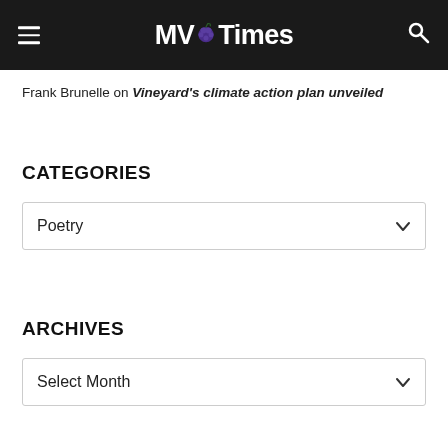MV Times
Frank Brunelle on Vineyard's climate action plan unveiled
CATEGORIES
Poetry (dropdown)
ARCHIVES
Select Month (dropdown)